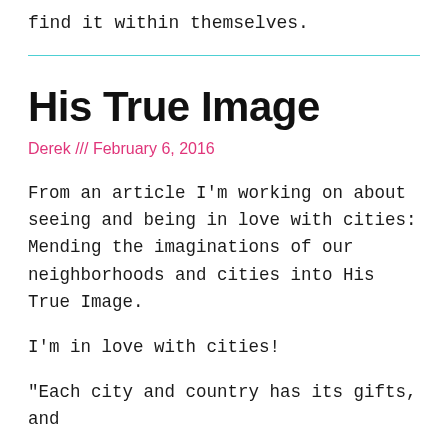find it within themselves.
His True Image
Derek /// February 6, 2016
From an article I'm working on about seeing and being in love with cities: Mending the imaginations of our neighborhoods and cities into His True Image.
I'm in love with cities!
“Each city and country has its gifts, and